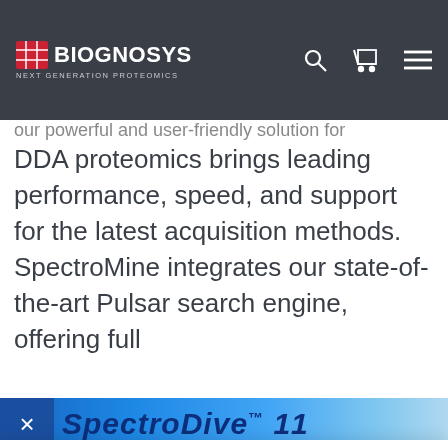BIOGNOSYS | NEXT GENERATION PROTEOMICS
exciting new features and improvements. our powerful and user-friendly solution for DDA proteomics brings leading performance, speed, and support for the latest acquisition methods. SpectroMine integrates our state-of-the-art Pulsar search engine, offering full
[Figure (screenshot): Blue banner with SpectroDiv TM 11 text and close X button]
We use cookies on our website to give you the most relevant experience by remembering your preferences and repeat visits. By clicking "Accept", you consent to the use of ALL the cookies.
Cookie settings   ACCEPT